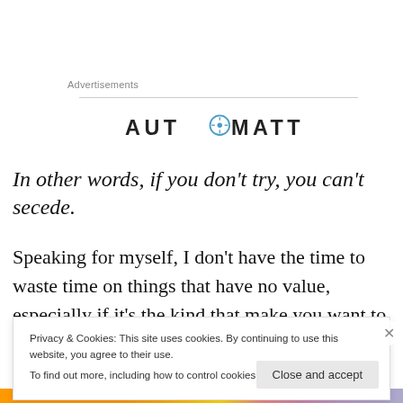Advertisements
[Figure (logo): Automattic logo — wordmark in dark gray with a compass/target icon replacing the letter O]
In other words, if you don't try, you can't secede.
Speaking for myself, I don't have the time to waste time on things that have no value, especially if it's the kind that make you want to stop living. I suggest you deal with
Privacy & Cookies: This site uses cookies. By continuing to use this website, you agree to their use.
To find out more, including how to control cookies, see here: Cookie Policy
Close and accept